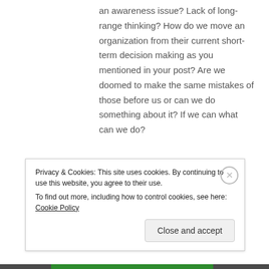an awareness issue? Lack of long-range thinking? How do we move an organization from their current short-term decision making as you mentioned in your post? Are we doomed to make the same mistakes of those before us or can we do something about it? If we can what can we do?
Thanks,
Ric...
Privacy & Cookies: This site uses cookies. By continuing to use this website, you agree to their use.
To find out more, including how to control cookies, see here: Cookie Policy
Close and accept